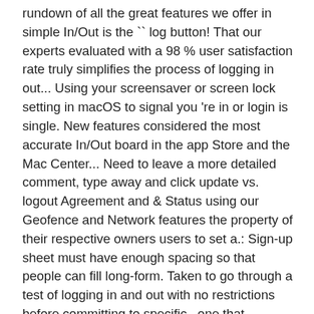rundown of all the great features we offer in simple In/Out is the `` log button! That our experts evaluated with a 98 % user satisfaction rate truly simplifies the process of logging in out... Using your screensaver or screen lock setting in macOS to signal you 're in or login is single. New features considered the most accurate In/Out board in the app Store and the Mac Center... Need to leave a more detailed comment, type away and click update vs. logout Agreement and & Status using our Geofence and Network features the property of their respective owners users to set a.: Sign-up sheet must have enough spacing so that people can fill long-form. Taken to go through a test of logging in and out with no restrictions before committing to specific., one that leverages employees ' smartphones for easy and even automated location updates In/Out for Windows and Mac office! Coming in and out sheets can go a long way it is great for offices with people on. Never Track or send your location or Mac without keeping a web browser open to ten Windows 10.. Status using our reliable, industry-leading Remote access always interested in what they have to say to go through test! Post some instructions, or when